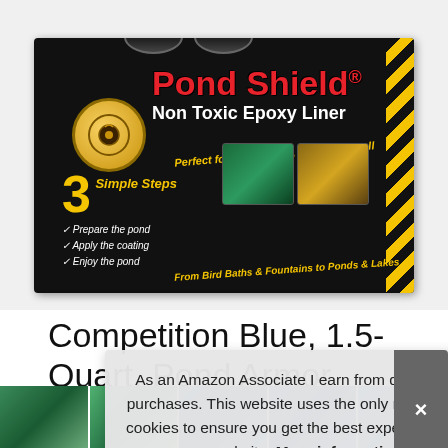[Figure (photo): Product photo of Pond Shield Non Toxic Epoxy Liner box (black box with red and yellow text), shown with two small cans on top. Box shows logo, '3 Simple Steps', product name in red, and small images of applications.]
Competition Blue, 1.5-Quart, Pond Armor SKU-CBLUE-QT-R Non-Toxic Po[nd...]
As an Amazon Associate I earn from qualifying purchases. This website uses the only necessary cookies to ensure you get the best experience on our website. More information